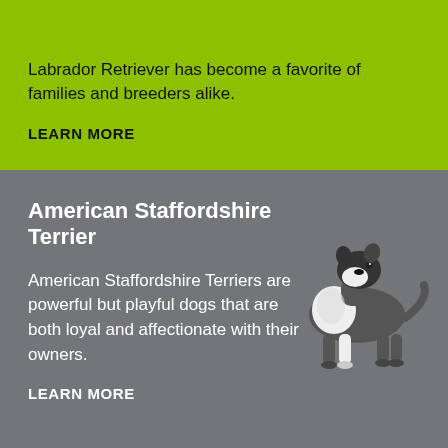Labrador Retriever has become a favorite of families and breeders alike.
LEARN MORE
American Staffordshire Terrier
[Figure (photo): Black and white illustration of an American Staffordshire Terrier dog standing in profile facing left]
American Staffordshire Terriers are powerful but playful dogs that are both loyal and affectionate with their owners.
LEARN MORE